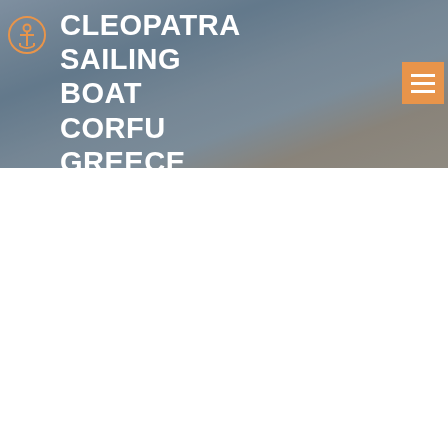[Figure (photo): Hero banner photo of a marina with sailboats moored at dock, showing deck and rigging details, with a dark semi-transparent overlay.]
CLEOPATRA SAILING BOAT CORFU GREECE